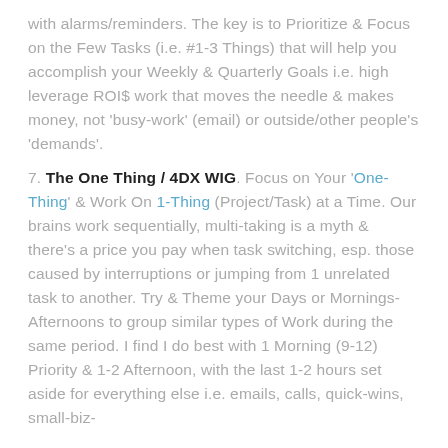with alarms/reminders. The key is to Prioritize & Focus on the Few Tasks (i.e. #1-3 Things) that will help you accomplish your Weekly & Quarterly Goals i.e. high leverage ROI$ work that moves the needle & makes money, not 'busy-work' (email) or outside/other people's 'demands'.
7. The One Thing / 4DX WIG. Focus on Your 'One-Thing' & Work On 1-Thing (Project/Task) at a Time. Our brains work sequentially, multi-taking is a myth & there's a price you pay when task switching, esp. those caused by interruptions or jumping from 1 unrelated task to another. Try & Theme your Days or Mornings-Afternoons to group similar types of Work during the same period. I find I do best with 1 Morning (9-12) Priority & 1-2 Afternoon, with the last 1-2 hours set aside for everything else i.e. emails, calls, quick-wins, small-biz-